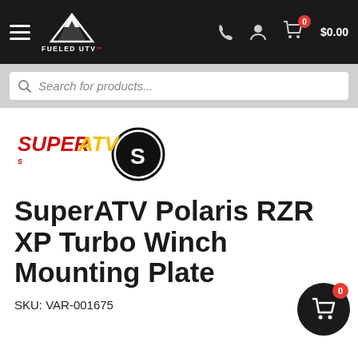[Figure (screenshot): Fueled UTV website navigation bar with hamburger menu, mountain logo, phone icon, user icon, cart icon with 0 badge and $0.00 price]
[Figure (screenshot): Search bar with magnifying glass icon and placeholder text 'Search for products...']
[Figure (logo): SuperATV brand logo with stylized text and circular emblem]
SuperATV Polaris RZR XP Turbo Winch Mounting Plate
SKU: VAR-001675